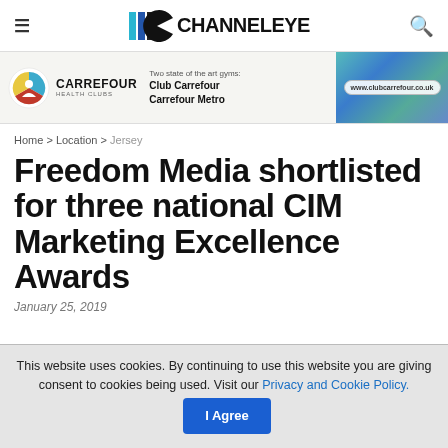CHANNELEYE
[Figure (logo): Carrefour Health Clubs advertisement banner with logo, text 'Two state of the art gyms: Club Carrefour Carrefour Metro' and URL www.clubcarrefour.co.uk]
Home > Location > Jersey
Freedom Media shortlisted for three national CIM Marketing Excellence Awards
January 25, 2019
This website uses cookies. By continuing to use this website you are giving consent to cookies being used. Visit our Privacy and Cookie Policy. I Agree